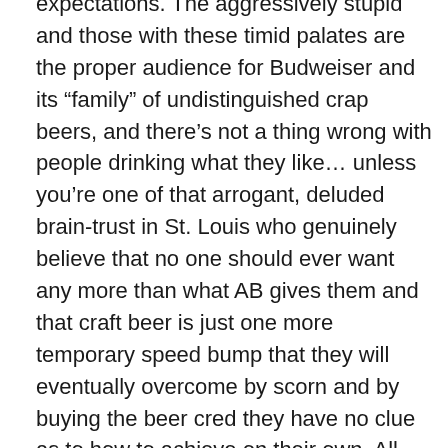expectations. The aggressively stupid and those with these timid palates are the proper audience for Budweiser and its “family” of undistinguished crap beers, and there’s not a thing wrong with people drinking what they like… unless you’re one of that arrogant, deluded brain-trust in St. Louis who genuinely believe that no one should ever want any more than what AB gives them and that craft beer is just one more temporary speed bump that they will eventually overcome by scorn and by buying the beer cred they have no clue as to how to achieve on their own. All Anheuser Busch and now AB/InBev have ever had going for them is the habitual nature of below-average drinkers and their own vast coffers, so shoveling money at problems is their tried ‘n’ true remedy for everything that ails them. This wildly expensive :30 on national air time is nothing more than the sort of lofty attempted dismissal they’ve been using for their whole history; that smarmy